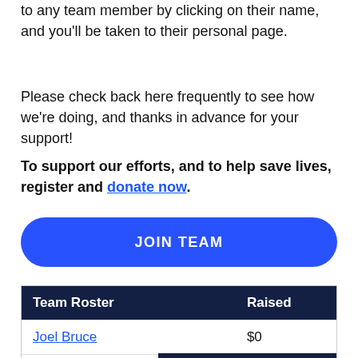to any team member by clicking on their name, and you'll be taken to their personal page.
Please check back here frequently to see how we're doing, and thanks in advance for your support!
To support our efforts, and to help save lives, register and donate now.
[Figure (other): Blue rounded button with white bold text reading 'JOIN TEAM']
| Team Roster | Raised |
| --- | --- |
| Joel Bruce | $0 |
| Scott Cowger |  |
BACK TO TOP ^